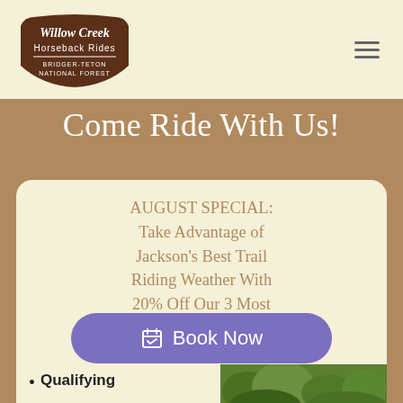[Figure (logo): Willow Creek Horseback Rides - Bridger-Teton National Forest logo with brown rounded pentagon shape and white text]
Come Ride With Us!
AUGUST SPECIAL: Take Advantage of Jackson's Best Trail Riding Weather With 20% Off Our 3 Most
Book Now
Qualifying